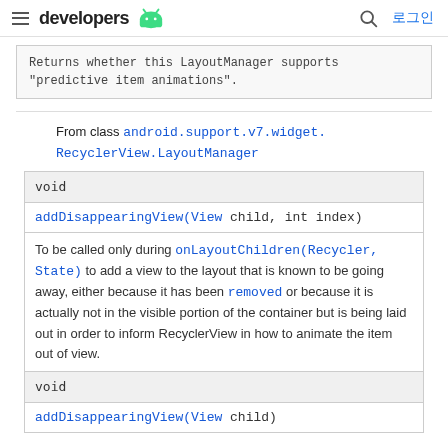developers [android logo] [search] 로그인
Returns whether this LayoutManager supports "predictive item animations".
From class android.support.v7.widget.RecyclerView.LayoutManager
| return type | method |
| --- | --- |
| void | addDisappearingView(View child, int index)
To be called only during onLayoutChildren(Recycler, State) to add a view to the layout that is known to be going away, either because it has been removed or because it is actually not in the visible portion of the container but is being laid out in order to inform RecyclerView in how to animate the item out of view. |
| void | addDisappearingView(View child) |